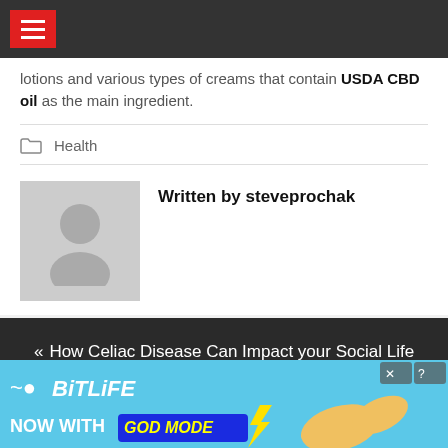Navigation bar with hamburger menu
lotions and various types of creams that contain USDA CBD oil as the main ingredient.
Health
Written by steveprochak
« How Celiac Disease Can Impact your Social Life
[Figure (screenshot): BitLife advertisement banner with 'NOW WITH GOD MODE' text on a light blue background with cartoon hand graphics]